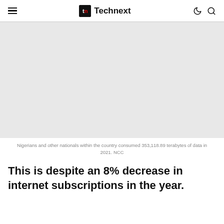Technext
[Figure (photo): Image area placeholder for an article about Nigerian internet data consumption]
Nigerians and other nationals within the country consumed 353,118.89 terabytes of data in 2021. NCC
This is despite an 8% decrease in internet subscriptions in the year.